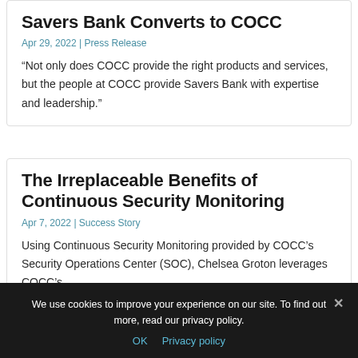Savers Bank Converts to COCC
Apr 29, 2022 | Press Release
“Not only does COCC provide the right products and services, but the people at COCC provide Savers Bank with expertise and leadership.”
The Irreplaceable Benefits of Continuous Security Monitoring
Apr 7, 2022 | Success Story
Using Continuous Security Monitoring provided by COCC’s Security Operations Center (SOC), Chelsea Groton leverages COCC’s
We use cookies to improve your experience on our site. To find out more, read our privacy policy.
OK  Privacy policy